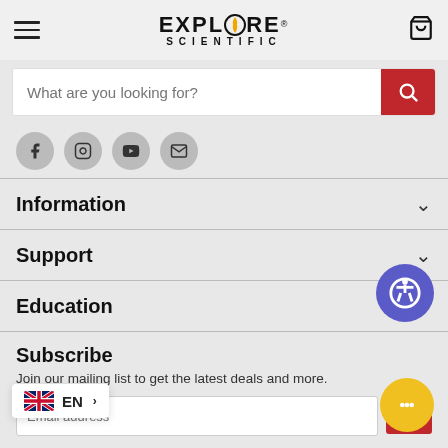Explore Scientific
What are you looking for?
[Figure (screenshot): Social media icons row: Facebook, Instagram, YouTube, Email]
Information
Support
Education
Subscribe
Join our mailing list to get the latest deals and more.
Email address  Sign up